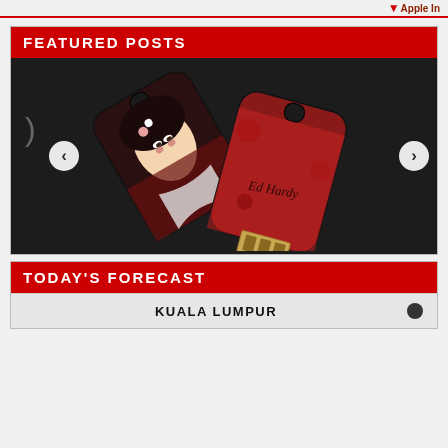Apple In
FEATURED POSTS
[Figure (photo): Two Ed Hardy branded USB flash drives shaped like keys with decorative tattoo-style artwork. Left one features a geisha face design, right one shows Ed Hardy branding in red/dark tones. Both have USB connectors at the bottom.]
TODAY'S FORECAST
KUALA LUMPUR